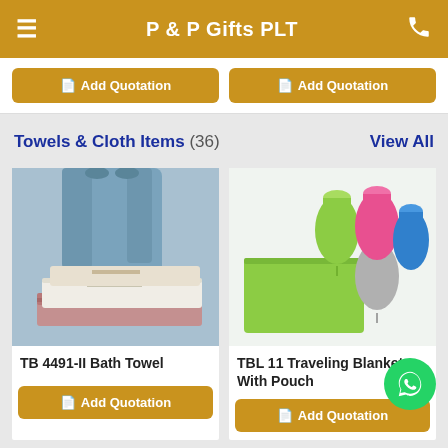P & P Gifts PLT
Add Quotation | Add Quotation
Towels & Cloth Items (36)  View All
[Figure (photo): Blue hanging towel and stacked folded towels (white, cream, pink) product photo for TB 4491-II Bath Towel]
TB 4491-II Bath Towel
Add Quotation
[Figure (photo): Colorful travel blanket pouches in green, pink, gray, blue colors with unfolded green blanket for TBL 11 Traveling Blanket With Pouch]
TBL 11 Traveling Blanket With Pouch
Add Quotation